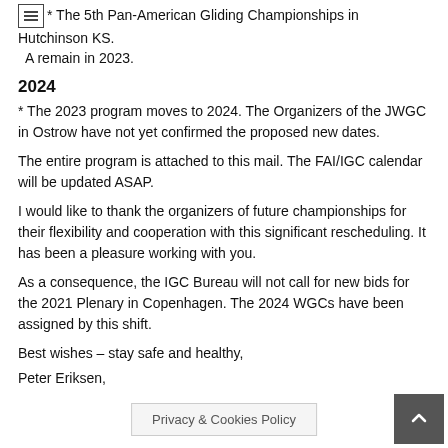* The 5th Pan-American Gliding Championships in Hutchinson KS. A remain in 2023.
2024
* The 2023 program moves to 2024. The Organizers of the JWGC in Ostrow have not yet confirmed the proposed new dates.
The entire program is attached to this mail. The FAI/IGC calendar will be updated ASAP.
I would like to thank the organizers of future championships for their flexibility and cooperation with this significant rescheduling. It has been a pleasure working with you.
As a consequence, the IGC Bureau will not call for new bids for the 2021 Plenary in Copenhagen. The 2024 WGCs have been assigned by this shift.
Best wishes – stay safe and healthy,
Peter Eriksen,